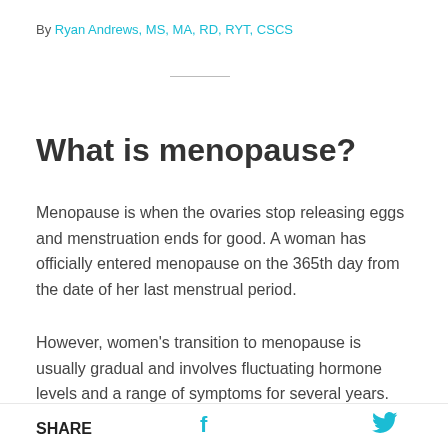By Ryan Andrews, MS, MA, RD, RYT, CSCS
What is menopause?
Menopause is when the ovaries stop releasing eggs and menstruation ends for good. A woman has officially entered menopause on the 365th day from the date of her last menstrual period.
However, women's transition to menopause is usually gradual and involves fluctuating hormone levels and a range of symptoms for several years.
SHARE